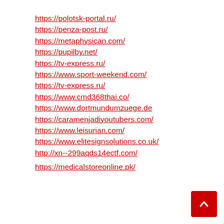https://polotsk-portal.ru/
https://penza-post.ru/
https://metaphysican.com/
https://pupilby.net/
https://tv-express.ru/
https://www.sport-weekend.com/
https://tv-express.ru/
https://www.cmd368thai.co/
https://www.dortmundumzuege.de
https://caramenjadiyoutubers.com/
https://www.leisurian.com/
https://www.elitesignsolutions.co.uk/
http://xn--299aqds14ectf.com/
https://medicalstoreonline.pk/